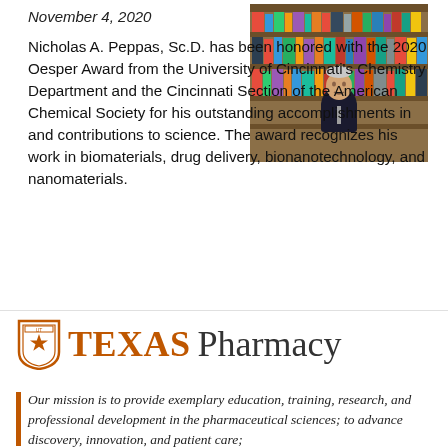November 4, 2020
[Figure (photo): Portrait photo of Nicholas A. Peppas, a man in a dark suit standing in front of bookshelves filled with books]
Nicholas A. Peppas, Sc.D. has been honored with the 2020 Oesper Award from the University of Cincinnati's Chemistry Department and the Cincinnati Section of the American Chemical Society for his outstanding accomplishments in and contributions to science. The award recognizes his work in biomaterials, drug delivery, bionanotechnology, and nanomaterials.
[Figure (logo): Texas Pharmacy logo with UT shield icon, orange TEXAS text and dark Pharmacy text]
Our mission is to provide exemplary education, training, research, and professional development in the pharmaceutical sciences; to advance discovery, innovation, and patient care;